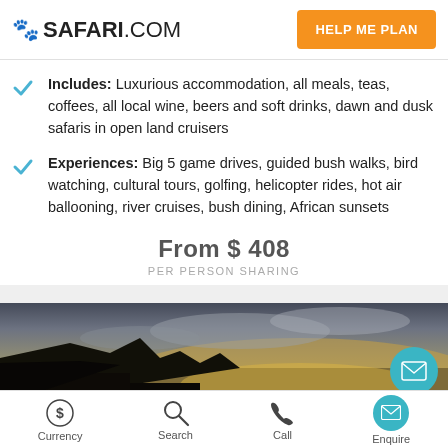SAFARI.COM | HELP ME PLAN
Includes: Luxurious accommodation, all meals, teas, coffees, all local wine, beers and soft drinks, dawn and dusk safaris in open land cruisers
Experiences: Big 5 game drives, guided bush walks, bird watching, cultural tours, golfing, helicopter rides, hot air ballooning, river cruises, bush dining, African sunsets
From $ 408
PER PERSON SHARING
[Figure (photo): African sunset landscape with dark silhouetted terrain and dramatic sky]
Currency | Search | Call | Enquire